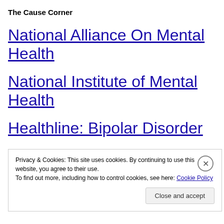The Cause Corner
National Alliance On Mental Health
National Institute of Mental Health
Healthline: Bipolar Disorder
Domestic Abuse Hotline
Privacy & Cookies: This site uses cookies. By continuing to use this website, you agree to their use.
To find out more, including how to control cookies, see here: Cookie Policy
Close and accept